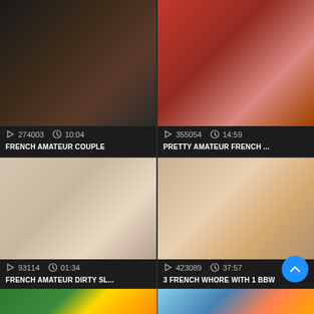[Figure (screenshot): Video thumbnail grid showing adult video listings with thumbnails, view counts, durations, and titles]
274003  10:04
FRENCH AMATEUR COUPLE
355054  14:59
PRETTY AMATEUR FRENCH ...
93114  01:34
FRENCH AMATEUR DIRTY SL...
423089  37:57
3 FRENCH WHORE WITH 1 BBW